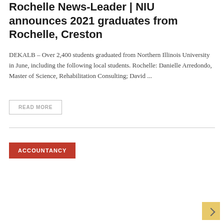Rochelle News-Leader | NIU announces 2021 graduates from Rochelle, Creston
DEKALB – Over 2,400 students graduated from Northern Illinois University in June, including the following local students. Rochelle: Danielle Arredondo, Master of Science, Rehabilitation Consulting; David ...
READ MORE
ACCOUNTANCY